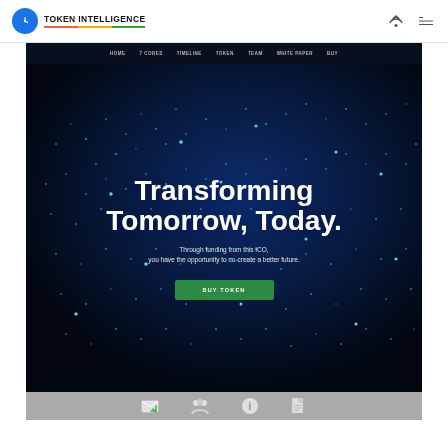TOKEN INTELLIGENCE
[Figure (screenshot): Token Intelligence website screenshot showing a hero section with dark background and glowing world map dots, navigation bar with HOME, 7 CORES, TIMELINE, TOKEN, TEAM, WHITE PAPER, BUY links, large headline 'Transforming Tomorrow, Today.' with subtext 'Through funding from this ICO, you have the opportunity to co-create a better future.' and a green BUY TOKEN button. Below the hero is a gray footer strip with icons.]
Through funding from this ICO, you have the opportunity to co-create a better future.